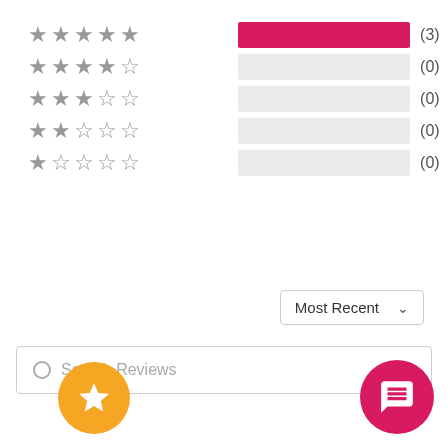[Figure (bar-chart): Star rating distribution]
Most Recent
Search Reviews